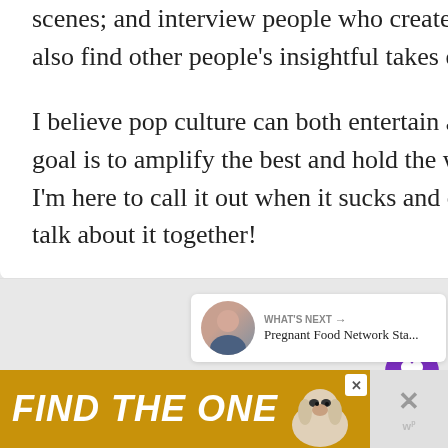news and report from behind the scenes; and interview people who create and star in reality TV shows. You'll also find other people's insightful takes on reality TV in these pages, too.
I believe pop culture can both entertain and affect us, and so reality blurred's goal is to amplify the best and hold the worst accountable. In other words, I'm here to call it out when it sucks and celebrate it when it's amazing. Let's talk about it together!
[Figure (other): Purple circular heart/like button with heart icon, like count 117, and a share button below]
[Figure (other): What's Next sidebar with photo of blonde woman and text: Pregnant Food Network Sta...]
[Figure (other): Yellow advertisement banner with text FIND THE ONE and image of a dog, with close button and brand logo]